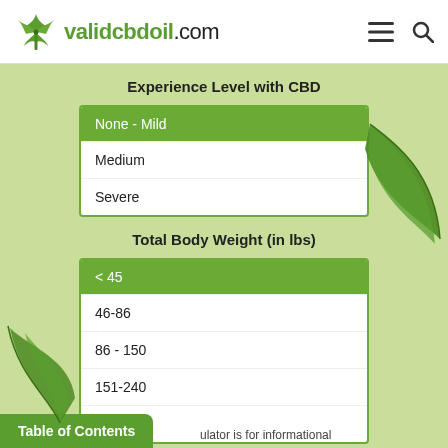validcbdoil.com
Experience Level with CBD
| Experience Level with CBD |
| --- |
| None - Mild |
| Medium |
| Severe |
Total Body Weight (in lbs)
| Total Body Weight (in lbs) |
| --- |
| < 45 |
| 46-86 |
| 86 - 150 |
| 151-240 |
| >240 |
Table of Contents    ulator is for informational